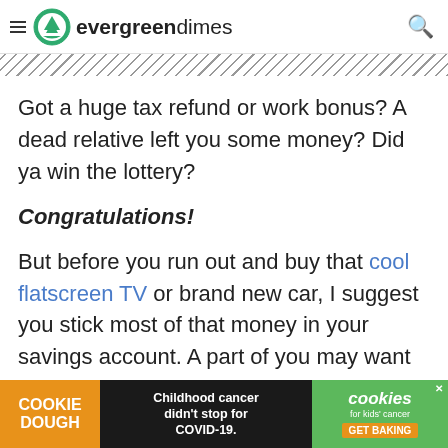evergreendimes
Got a huge tax refund or work bonus? A dead relative left you some money? Did ya win the lottery?
Congratulations!
But before you run out and buy that cool flatscreen TV or brand new car, I suggest you stick most of that money in your savings account. A part of you may want to pay off de...
[Figure (other): Cookie Dough advertisement banner: Childhood cancer didn't stop for COVID-19. Cookies for kids cancer. GET BAKING.]